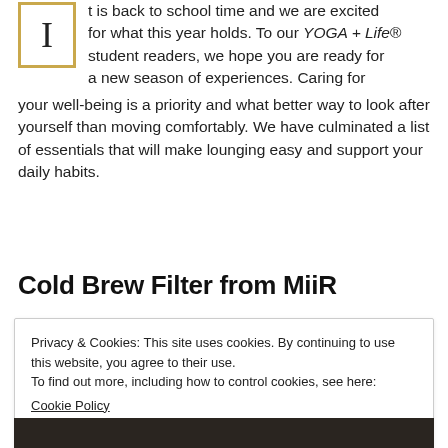t is back to school time and we are excited for what this year holds. To our YOGA + Life® student readers, we hope you are ready for a new season of experiences. Caring for your well-being is a priority and what better way to look after yourself than moving comfortably. We have culminated a list of essentials that will make lounging easy and support your daily habits.
Cold Brew Filter from MiiR
Privacy & Cookies: This site uses cookies. By continuing to use this website, you agree to their use. To find out more, including how to control cookies, see here: Cookie Policy
[Figure (photo): Partial photo visible at the bottom of the page, dark tones]